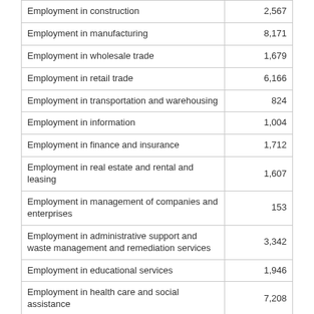|  |  |
| --- | --- |
| Employment in construction | 2,567 |
| Employment in manufacturing | 8,171 |
| Employment in wholesale trade | 1,679 |
| Employment in retail trade | 6,166 |
| Employment in transportation and warehousing | 824 |
| Employment in information | 1,004 |
| Employment in finance and insurance | 1,712 |
| Employment in real estate and rental and leasing | 1,607 |
| Employment in management of companies and enterprises | 153 |
| Employment in administrative support and waste management and remediation services | 3,342 |
| Employment in educational services | 1,946 |
| Employment in health care and social assistance | 7,208 |
| Employment in arts, entertainment, and recreation | 615 |
| Employment in accommodation and food services | 3,293 |
| Employment in other services, except public administration | 2,962 |
Crime in Lindale, GA *
Before you move to a new home in Georgia it is good to be aware of the crime rate. By knowing the crime rate of Lindale, you can make educated